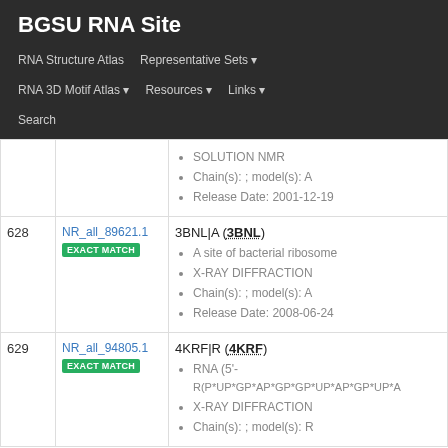BGSU RNA Site
RNA Structure Atlas   Representative Sets ▾   RNA 3D Motif Atlas ▾   Resources ▾   Links ▾   Search
| # | ID | Entry |
| --- | --- | --- |
|  |  | SOLUTION NMR
Chain(s): ; model(s): A
Release Date: 2001-12-19 |
| 628 | NR_all_89621.1
EXACT MATCH | 3BNL|A (3BNL)
A site of bacterial ribosome
X-RAY DIFFRACTION
Chain(s): ; model(s): A
Release Date: 2008-06-24 |
| 629 | NR_all_94805.1
EXACT MATCH | 4KRF|R (4KRF)
RNA (5'-R(P*UP*GP*AP*GP*GP*UP*AP*GP*UP*A...
X-RAY DIFFRACTION
Chain(s): ; model(s): R |